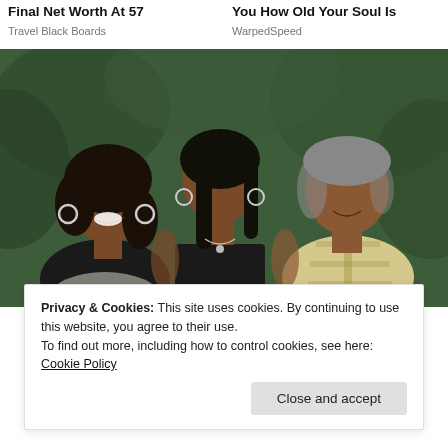Final Net Worth At 57
Travel Black Boards
You How Old Your Soul Is
WarpedSpeed
[Figure (photo): Family photo of a woman on the left smiling with hoop earrings and black outfit, a young woman in the center with straight hair and black spaghetti strap top and necklace, and a man on the right with gray hair wearing a plaid shirt, posed together against a leafy background.]
Privacy & Cookies: This site uses cookies. By continuing to use this website, you agree to their use.
To find out more, including how to control cookies, see here: Cookie Policy
Close and accept